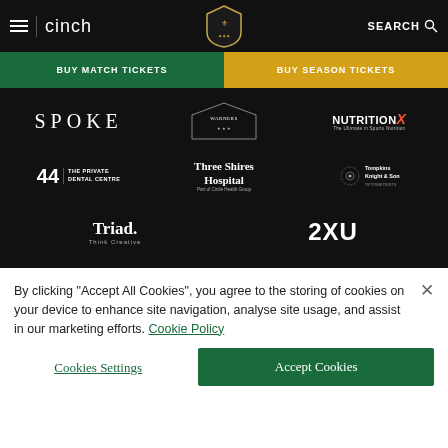cinch | SEARCH
BUY MATCH TICKETS | BUY SEASON TICKETS
[Figure (logo): Sponsors section with logos: SPOKE, Warners, NutritionX, 44 The Private Dental Centre, Three Shires Hospital, Tompkins Knight & Son, Triad Think Creative, 2XU]
By clicking “Accept All Cookies”, you agree to the storing of cookies on your device to enhance site navigation, analyse site usage, and assist in our marketing efforts. Cookie Policy
Cookies Settings
Accept Cookies